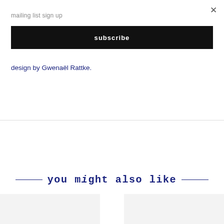×
mailing list sign up
subscribe
design by Gwenaël Rattke.
you might also like